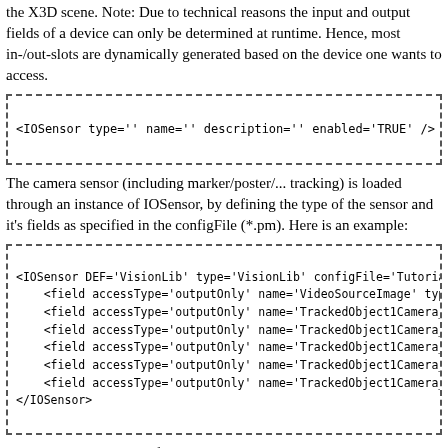the X3D scene. Note: Due to technical reasons the input and output fields of a device can only be determined at runtime. Hence, most in-/out-slots are dynamically generated based on the device one wants to access.
<IOSensor type='' name='' description='' enabled='TRUE' />
The camera sensor (including marker/poster/... tracking) is loaded through an instance of IOSensor, by defining the type of the sensor and it's fields as specified in the configFile (*.pm). Here is an example:
<IOSensor DEF='VisionLib' type='VisionLib' configFile='TutorialMarkerT
    <field accessType='outputOnly' name='VideoSourceImage' type='SFIma
    <field accessType='outputOnly' name='TrackedObject1Camera_ModelVie
    <field accessType='outputOnly' name='TrackedObject1Camera_Principa
    <field accessType='outputOnly' name='TrackedObject1Camera_FOV_hori
    <field accessType='outputOnly' name='TrackedObject1Camera_FOV_vert
    <field accessType='outputOnly' name='TrackedObject1Camera_CAM_aspe
</IOSensor>
Using the camera image for texture is nothing more than routing the VideoSourceImage field of the IOSensor node to a PixelTexture node, which can also be part of a Background or Foreground appearance.